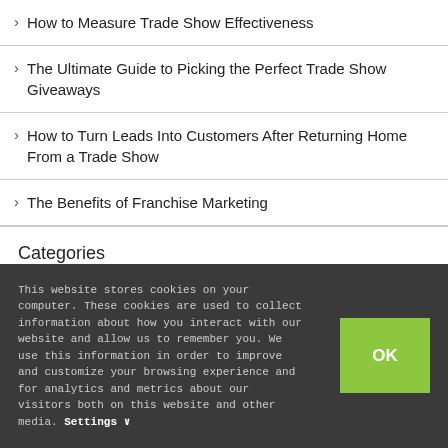> How to Measure Trade Show Effectiveness
> The Ultimate Guide to Picking the Perfect Trade Show Giveaways
> How to Turn Leads Into Customers After Returning Home From a Trade Show
> The Benefits of Franchise Marketing
Categories
This website stores cookies on your computer. These cookies are used to collect information about how you interact with our website and allow us to remember you. We use this information in order to improve and customize your browsing experience and for analytics and metrics about our visitors both on this website and other media. Settings ∨
OK